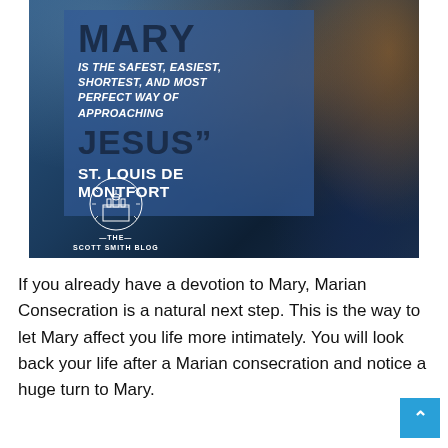[Figure (illustration): A decorative image with dark blue background and orange/flame accent, featuring overlaid bold text quote attributed to St. Louis de Montfort reading 'MARY IS THE SAFEST, EASIEST, SHORTEST, AND MOST PERFECT WAY OF APPROACHING JESUS" ST. LOUIS DE MONTFORT' with The Scott Smith Blog logo at the bottom left.]
If you already have a devotion to Mary, Marian Consecration is a natural next step. This is the way to let Mary affect you life more intimately. You will look back your life after a Marian consecration and notice a huge turn to Mary.